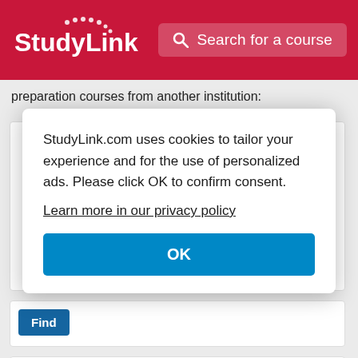StudyLink | Search for a course
preparation courses from another institution:
[Figure (logo): Cardiff University / Prifysgol Caerdydd logo — red rectangular badge with white text]
Graduate Diploma in Law
Find
StudyLink.com uses cookies to tailor your experience and for the use of personalized ads. Please click OK to confirm consent.
Learn more in our privacy policy
OK